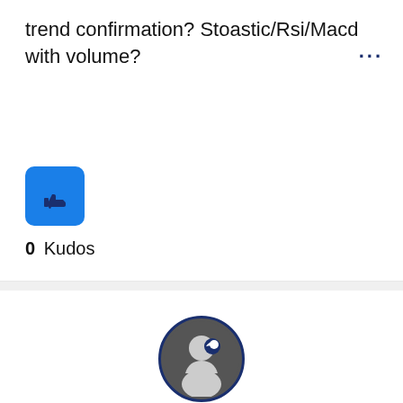trend confirmation? Stoastic/Rsi/Macd with volume?
[Figure (other): Blue thumbs-up kudos button icon]
0 Kudos
[Figure (other): User avatar circle with profile icon, dark background]
not applicable
11-06-2008 12:50 PM
Re: From Top 168